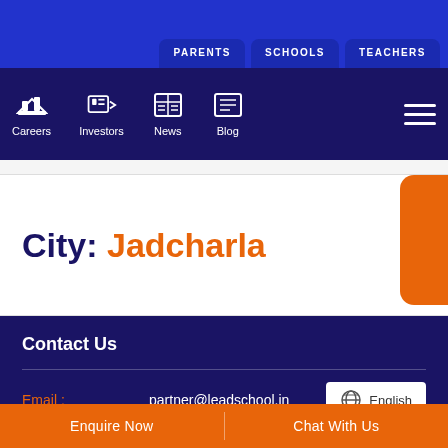PARENTS | SCHOOLS | TEACHERS
Careers | Investors | News | Blog
City: Jadcharla
Contact Us
Email : partner@leadschool.in
English
Enquire Now   Chat With Us